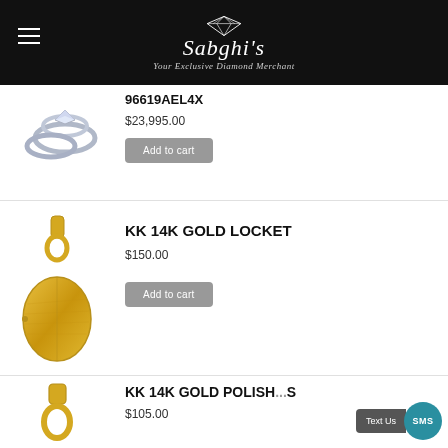Sabghi's — Your Exclusive Diamond Merchant
96619AEL4X
$23,995.00
[Figure (photo): Diamond ring set — engagement ring with wedding band]
Add to cart
KK 14K GOLD LOCKET
$150.00
[Figure (photo): 14K gold oval locket pendant with bail]
Add to cart
KK 14K GOLD POLISH...S
$105.00
[Figure (photo): 14K gold bail/pendant connector piece]